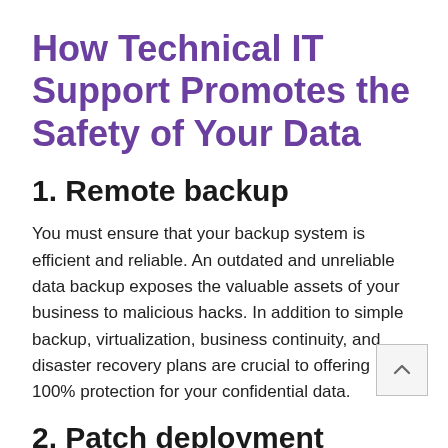How Technical IT Support Promotes the Safety of Your Data
1. Remote backup
You must ensure that your backup system is efficient and reliable. An outdated and unreliable data backup exposes the valuable assets of your business to malicious hacks. In addition to simple backup, virtualization, business continuity, and disaster recovery plans are crucial to offering 100% protection for your confidential data.
2. Patch deployment
A competent IT support team will handle software...